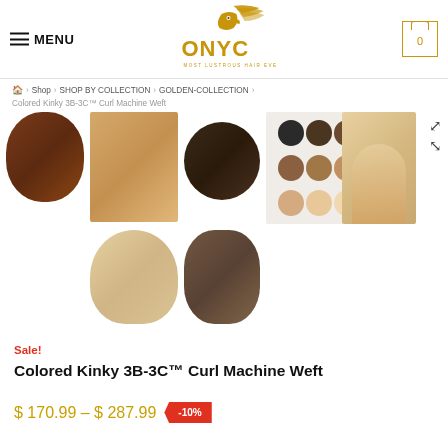MENU | ONYC Hair Logo | Cart: 0
Home > Shop > SHOP BY COLLECTION > GOLDEN-COLLECTION > Colored Kinky 3B-3C™ Curl Machine Weft
[Figure (photo): Product image gallery showing Colored Kinky 3B-3C Curl Machine Weft hair extensions in various shades and styles - multiple thumbnail images]
Sale!
Colored Kinky 3B-3C™ Curl Machine Weft
$ 170.99 – $ 287.99 -10%